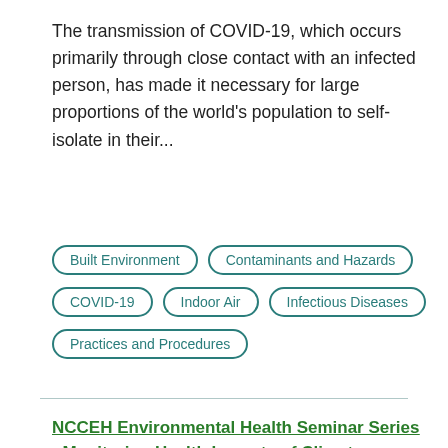The transmission of COVID-19, which occurs primarily through close contact with an infected person, has made it necessary for large proportions of the world's population to self-isolate in their...
Built Environment
Contaminants and Hazards
COVID-19
Indoor Air
Infectious Diseases
Practices and Procedures
NCCEH Environmental Health Seminar Series - Monitoring Health Impacts of Climate Change: A GIS Application to Display Real-Time Surveillance of Environmental Data and Health Outcomes Combined with Demographic Information